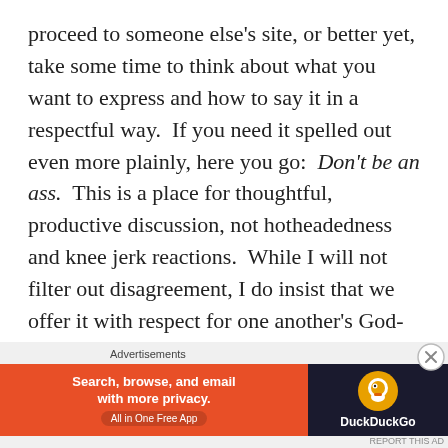proceed to someone else's site, or better yet, take some time to think about what you want to express and how to say it in a respectful way.  If you need it spelled out even more plainly, here you go:  Don't be an ass.  This is a place for thoughtful, productive discussion, not hotheadedness and knee jerk reactions.  While I will not filter out disagreement, I do insist that we offer it with respect for one another's God-given humanity.
RELATED POSTS
That time when white people talked about being white
[Figure (screenshot): DuckDuckGo advertisement banner: orange section with 'Search, browse, and email with more privacy. All in One Free App' and dark section with DuckDuckGo duck logo and name.]